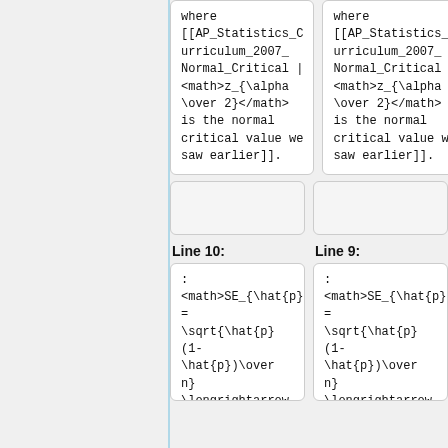where [[AP_Statistics_Curriculum_2007_Normal_Critical | <math>z_{\alpha\over 2}</math> is the normal critical value we saw earlier]].
where [[AP_Statistics_Curriculum_2007_Normal_Critical | <math>z_{\alpha\over 2}</math> is the normal critical value we saw earlier]].
Line 10:
Line 9:
: <math>SE_{\hat{p}} = \sqrt{\hat{p}(1-\hat{p})\over n} \longrightarrow SE_{\tilde{p}} = \sqrt{\tilde{p}(1-\tilde{p})\over
: <math>SE_{\hat{p}} = \sqrt{\hat{p}(1-\hat{p})\over n} \longrightarrow SE_{\tilde{p}} = \sqrt{\tilde{p}(1-\tilde{p})\over